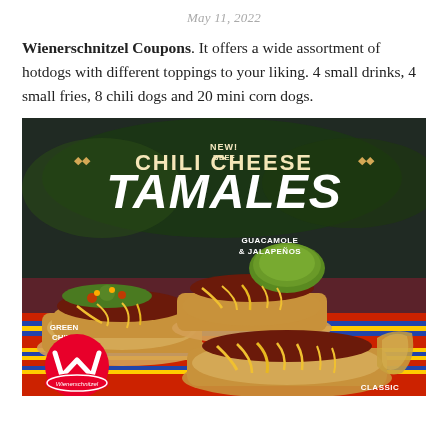May 11, 2022
Wienerschnitzel Coupons. It offers a wide assortment of hotdogs with different toppings to your liking. 4 small drinks, 4 small fries, 8 chili dogs and 20 mini corn dogs.
[Figure (photo): Wienerschnitzel advertisement for New! Beef Chili Cheese Tamales showing three tamales with different toppings: Green Chile, Guacamole & Jalapeños, and Classic, with shredded cheese. The Wienerschnitzel logo is visible in the bottom left corner.]